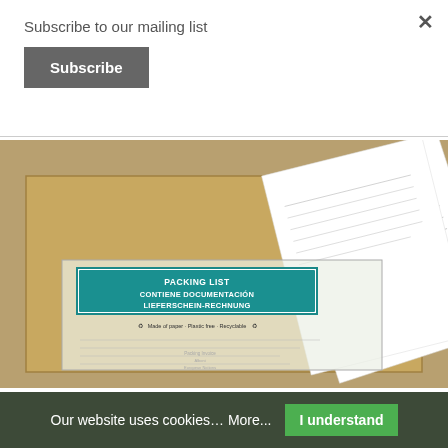Subscribe to our mailing list
Subscribe
[Figure (photo): Product photo of a packing list envelope attached to a cardboard box. The transparent envelope shows a teal header label reading 'PACKING LIST / CONTIENE DOCUMENTACION / LIEFERSCHEIN-RECHNUNG' and text 'Made of paper - Plastic free - Recyclable'. Documents are visible sticking out from behind the envelope. A green 'NEW' badge is visible in the top right corner of the image.]
Our website uses cookies… More...
I understand